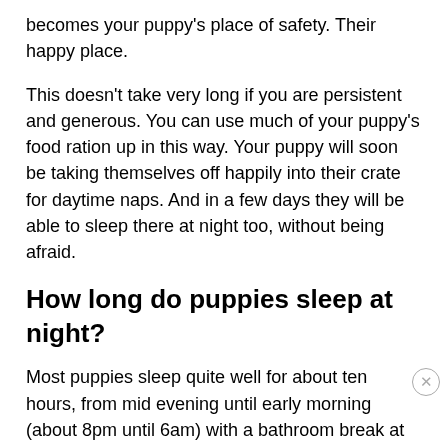becomes your puppy's place of safety. Their happy place.
This doesn't take very long if you are persistent and generous. You can use much of your puppy's food ration up in this way. Your puppy will soon be taking themselves off happily into their crate for daytime naps. And in a few days they will be able to sleep there at night too, without being afraid.
How long do puppies sleep at night?
Most puppies sleep quite well for about ten hours, from mid evening until early morning (about 8pm until 6am) with a bathroom break at your bedtime and for the first two weeks, again during the night.
It's tempting to encourage a puppy to zoom around during the evening in the hopes of wearing them out, but it's not usually effective and can make things worse. A sensible bedtime...